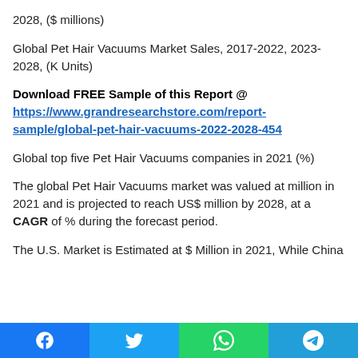2028, ($ millions)
Global Pet Hair Vacuums Market Sales, 2017-2022, 2023-2028, (K Units)
Download FREE Sample of this Report @ https://www.grandresearchstore.com/report-sample/global-pet-hair-vacuums-2022-2028-454
Global top five Pet Hair Vacuums companies in 2021 (%)
The global Pet Hair Vacuums market was valued at million in 2021 and is projected to reach US$ million by 2028, at a CAGR of % during the forecast period.
The U.S. Market is Estimated at $ Million in 2021, While China